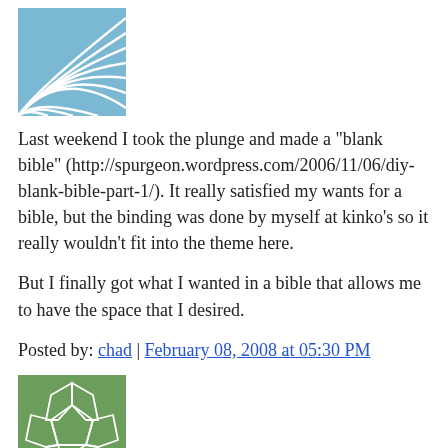[Figure (illustration): Blue fan/wave pattern avatar icon in top left]
Last weekend I took the plunge and made a "blank bible" (http://spurgeon.wordpress.com/2006/11/06/diy-blank-bible-part-1/). It really satisfied my wants for a bible, but the binding was done by myself at kinko's so it really wouldn't fit into the theme here.
But I finally got what I wanted in a bible that allows me to have the space that I desired.
Posted by: chad | February 08, 2008 at 05:30 PM
[Figure (illustration): Green geometric/soccer ball pattern avatar icon]
I enjoy writing in journals, and have done so for a long time now. This article has been very informative, as I've never used Moleskine notebooks before.
One thing you must have, IMHO, is a quality fountain pen for your note taking. Of course, any pen will do, but a fountain pen and